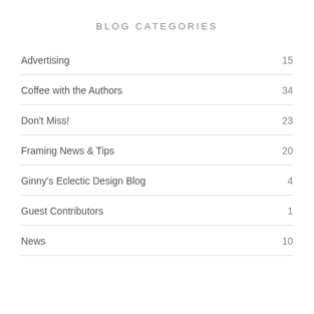BLOG CATEGORIES
Advertising  15
Coffee with the Authors  34
Don't Miss!  23
Framing News & Tips  20
Ginny's Eclectic Design Blog  4
Guest Contributors  1
News  10